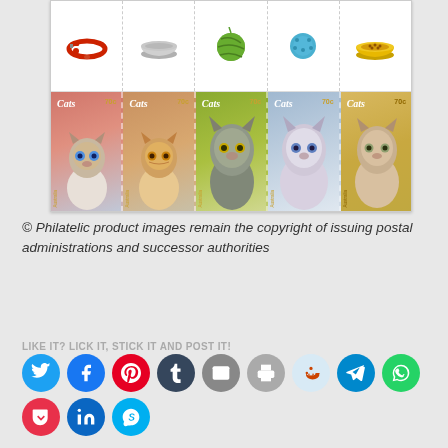[Figure (photo): Australian postal stamps featuring cats (Siamese, tabby, Maine Coon, Ragdoll, and another breed), each 70c, with cat accessories shown in top row (collar, bowl, toy ball, blue ball, food bowl)]
© Philatelic product images remain the copyright of issuing postal administrations and successor authorities
LIKE IT? LICK IT, STICK IT AND POST IT!
[Figure (infographic): Social media share buttons: Twitter, Facebook, Pinterest, Tumblr, Email, Print, Reddit, Telegram, WhatsApp (row 1); Pocket, LinkedIn, Skype (row 2)]